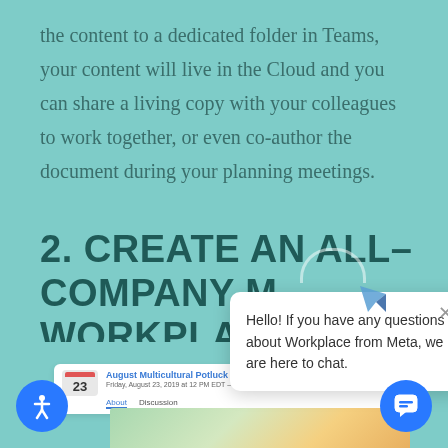the content to a dedicated folder in Teams, your content will live in the Cloud and you can share a living copy with your colleagues to work together, or even co-author the document during your planning meetings.
2. CREATE AN ALL-COMPANY M WORKPLAC
[Figure (screenshot): Chat popup overlay with Workplace from Meta branding. Shows a white rounded card with close X button and text: Hello! If you have any questions about Workplace from Meta, we are here to chat. Below is a partial screenshot of an event card showing 'August Multicultural Potluck' event dated 23, with About and Discussion tabs. App icon (dart/polygon shape) visible. Blue accessibility and chat buttons at bottom corners.]